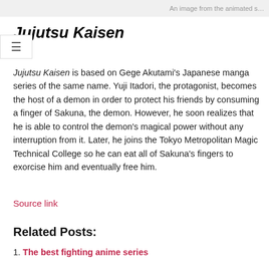An image from the animated s…
Jujutsu Kaisen
Jujutsu Kaisen is based on Gege Akutami's Japanese manga series of the same name. Yuji Itadori, the protagonist, becomes the host of a demon in order to protect his friends by consuming a finger of Sakuna, the demon. However, he soon realizes that he is able to control the demon's magical power without any interruption from it. Later, he joins the Tokyo Metropolitan Magic Technical College so he can eat all of Sakuna's fingers to exorcise him and eventually free him.
Source link
Related Posts:
1. The best fighting anime series
2. (partially visible)